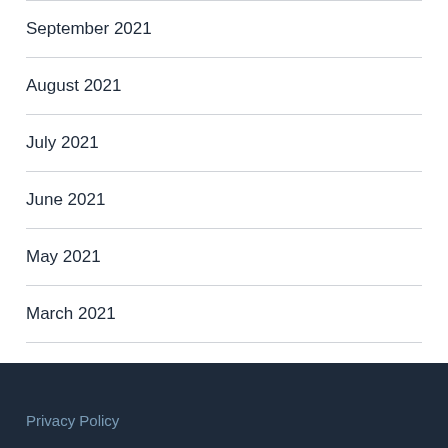September 2021
August 2021
July 2021
June 2021
May 2021
March 2021
March 2020
November 2016
Privacy Policy